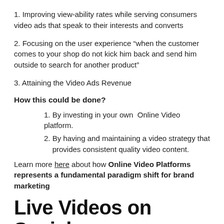1. Improving view-ability rates while serving consumers video ads that speak to their interests and converts
2. Focusing on the user experience “when the customer comes to your shop do not kick him back and send him outside to search for another product”
3. Attaining the Video Ads Revenue
How this could be done?
1. By investing in your own  Online Video platform.
2. By having and maintaining a video strategy that provides consistent quality video content.
Learn more here about how Online Video Platforms represents a fundamental paradigm shift for brand marketing
Live Videos on Social